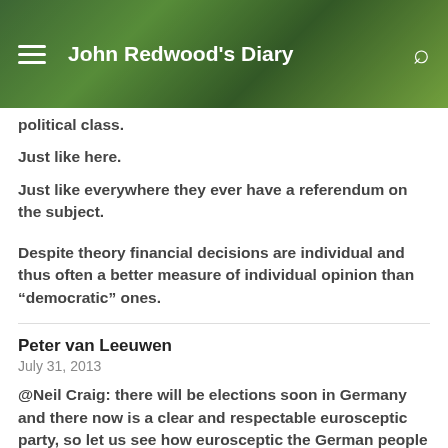John Redwood's Diary
political class.
Just like here.
Just like everywhere they ever have a referendum on the subject.

Despite theory financial decisions are individual and thus often a better measure of individual opinion than “democratic” ones.
Peter van Leeuwen
July 31, 2013
@Neil Craig: there will be elections soon in Germany and there now is a clear and respectable eurosceptic party, so let us see how eurosceptic the German people will prove to be.